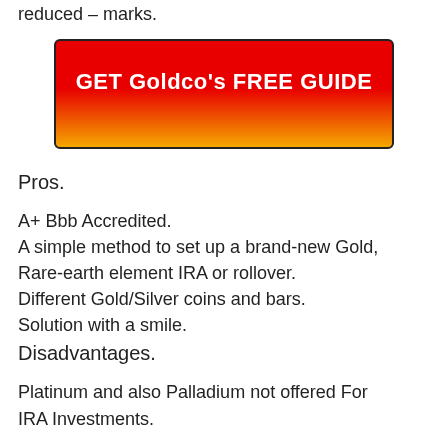reduced – marks.
[Figure (other): Red to gold gradient CTA button with text GET Goldco's FREE GUIDE]
Pros.
A+ Bbb Accredited.
A simple method to set up a brand-new Gold, Rare-earth element IRA or rollover.
Different Gold/Silver coins and bars.
Solution with a smile.
Disadvantages.
Platinum and also Palladium not offered For IRA Investments.